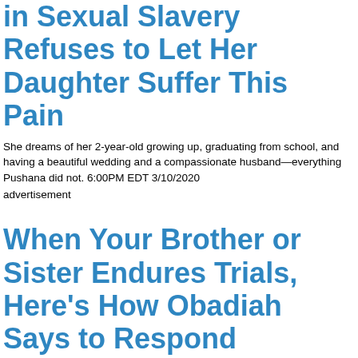in Sexual Slavery Refuses to Let Her Daughter Suffer This Pain
She dreams of her 2-year-old growing up, graduating from school, and having a beautiful wedding and a compassionate husband—everything Pushana did not. 6:00PM EDT 3/10/2020
advertisement
When Your Brother or Sister Endures Trials, Here's How Obadiah Says to Respond
Do we feel satisfied when a contemporary falls into hard times or hits a rough patch? 2:00PM EDT 3/10/2020